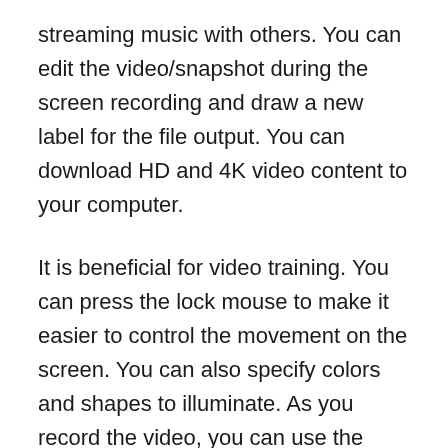streaming music with others. You can edit the video/snapshot during the screen recording and draw a new label for the file output. You can download HD and 4K video content to your computer.
It is beneficial for video training. You can press the lock mouse to make it easier to control the movement on the screen. You can also specify colors and shapes to illuminate. As you record the video, you can use the voice recorder to record the video or turn on the audio and record your voice. The first is suitable for video production, and the second is ideal for video production. You want to record a video session; you must turn it all on.
Of course, there are more ways to use a screen...